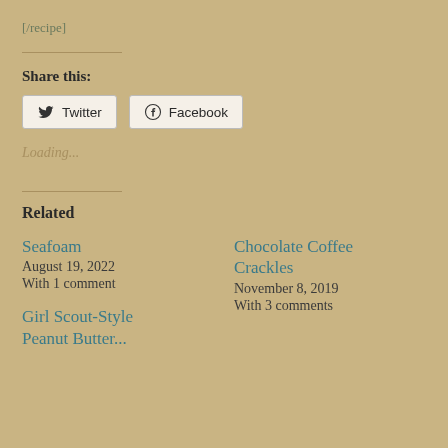[/recipe]
Share this:
Twitter  Facebook
Loading...
Related
Seafoam
August 19, 2022
With 1 comment
Chocolate Coffee Crackles
November 8, 2019
With 3 comments
Girl Scout-Style
Peanut Butter...